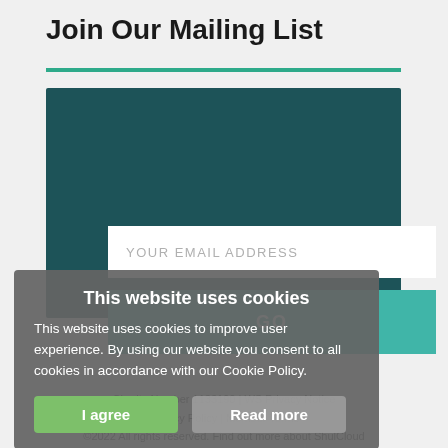Join Our Mailing List
[Figure (screenshot): Email signup form with dark teal background, white email input field with placeholder 'YOUR EMAIL ADDRESS', and a teal GO button]
This website uses cookies
This website uses cookies to improve user experience. By using our website you consent to all cookies in accordance with our Cookie Policy.
I agree   Read more
Charity Number  1133190 | WS Privacy Notice
Privacy Policy  |  Member Terms
©2022 All rights reserved. Find out more about ShulCloud